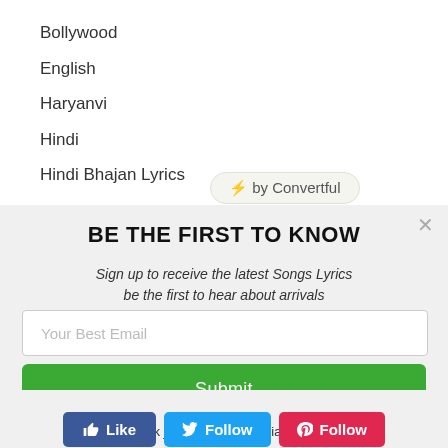Bollywood
English
Haryanvi
Hindi
Hindi Bhajan Lyrics
[Figure (screenshot): Convertful badge with lightning bolt emoji]
BE THE FIRST TO KNOW
Sign up to receive the latest Songs Lyrics be the first to hear about arrivals
Your Best Email
Submit
Or 1-click join using your social profile 👇
[Figure (screenshot): Social buttons: Like (Facebook blue), Follow (Twitter cyan), Follow (Pinterest red)]